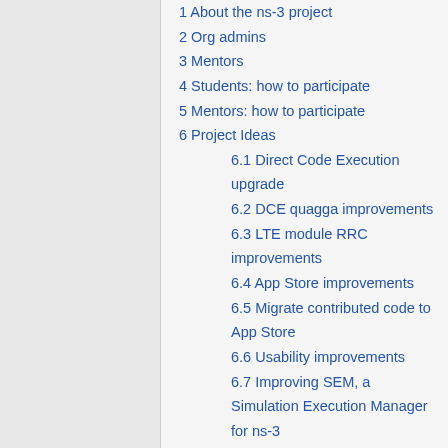1 About the ns-3 project
2 Org admins
3 Mentors
4 Students: how to participate
5 Mentors: how to participate
6 Project Ideas
6.1 Direct Code Execution upgrade
6.2 DCE quagga improvements
6.3 LTE module RRC improvements
6.4 App Store improvements
6.5 Migrate contributed code to App Store
6.6 Usability improvements
6.7 Improving SEM, a Simulation Execution Manager for ns-3
6.8 User-friendly internet-apps
6.9 nam upgrade and support for ns-3
6.10 NetAnim improvements and examples/documentation
6.11 Wi-Fi code refactoring to